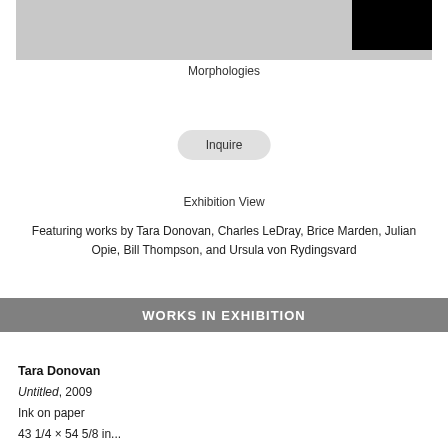[Figure (photo): Artwork image showing a gray surface with a black rectangle in the upper right portion]
Morphologies
Inquire
Exhibition View
Featuring works by Tara Donovan, Charles LeDray, Brice Marden, Julian Opie, Bill Thompson, and Ursula von Rydingsvard
WORKS IN EXHIBITION
Tara Donovan
Untitled, 2009
Ink on paper
43 1/4 × 54 5/8 inches